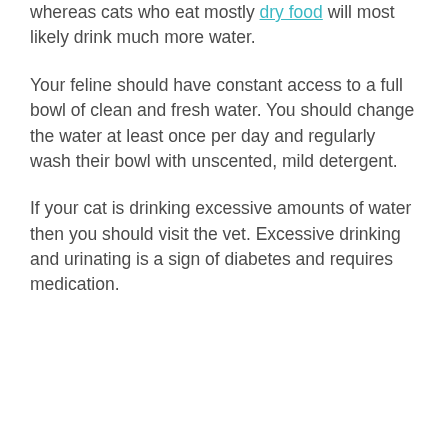whereas cats who eat mostly dry food will most likely drink much more water.
Your feline should have constant access to a full bowl of clean and fresh water. You should change the water at least once per day and regularly wash their bowl with unscented, mild detergent.
If your cat is drinking excessive amounts of water then you should visit the vet. Excessive drinking and urinating is a sign of diabetes and requires medication.